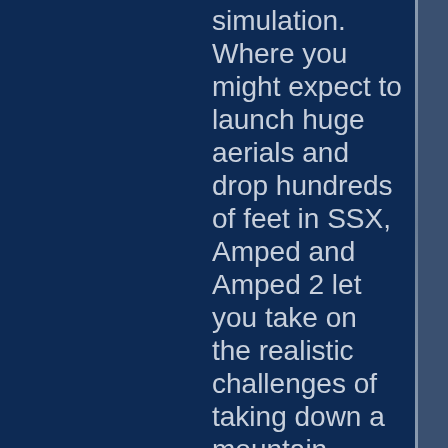simulation. Where you might expect to launch huge aerials and drop hundreds of feet in SSX, Amped and Amped 2 let you take on the realistic challenges of taking down a mountain.

Amped 3 surprised everyone